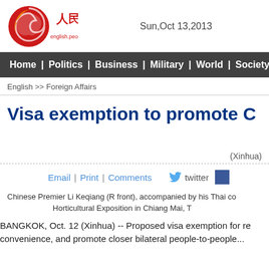人民网 english.people.cn  Sun,Oct 13,2013
Home | Politics | Business | Military | World | Society | Culture | T
English >> Foreign Affairs
Visa exemption to promote C p
(Xinhua)
Email | Print | Comments  twitter  [facebook]
Chinese Premier Li Keqiang (R front), accompanied by his Thai co Horticultural Exposition in Chiang Mai, T
BANGKOK, Oct. 12 (Xinhua) -- Proposed visa exemption for re convenience, and promote closer bilateral people-to-people e